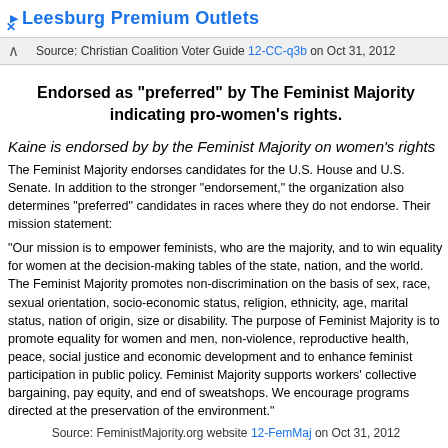Leesburg Premium Outlets
Source: Christian Coalition Voter Guide 12-CC-q3b on Oct 31, 2012
Endorsed as "preferred" by The Feminist Majority indicating pro-women's rights.
Kaine is endorsed by by the Feminist Majority on women's rights
The Feminist Majority endorses candidates for the U.S. House and U.S. Senate. In addition to the stronger "endorsement," the organization also determines "preferred" candidates in races where they do not endorse. Their mission statement:
"Our mission is to empower feminists, who are the majority, and to win equality for women at the decision-making tables of the state, nation, and the world. The Feminist Majority promotes non-discrimination on the basis of sex, race, sexual orientation, socio-economic status, religion, ethnicity, age, marital status, nation of origin, size or disability. The purpose of Feminist Majority is to promote equality for women and men, non-violence, reproductive health, peace, social justice and economic development and to enhance feminist participation in public policy. Feminist Majority supports workers' collective bargaining, pay equity, and end of sweatshops. We encourage programs directed at the preservation of the environment."
Source: FeministMajority.org website 12-FemMaj on Oct 31, 2012
Enforce against wage discrimination based on gender.
Kaine co-sponsored Paycheck Fairness Act